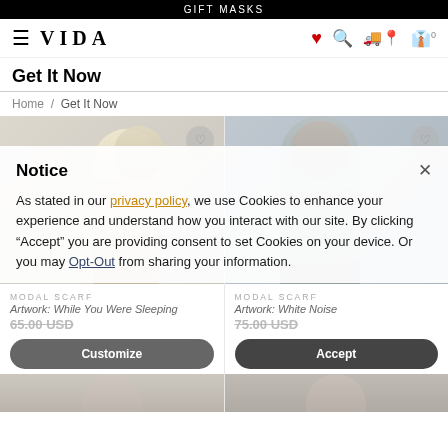GIFT MASKS
[Figure (screenshot): VIDA website navigation bar with hamburger menu, VIDA logo, heart icon, search icon, shipping icon, and cart icon]
Get It Now
Home / Get It Now
[Figure (photo): Two product photos side by side: left shows model from behind wearing floral modal scarf; right shows model facing camera wearing grey modal scarf]
MODAL SCARF
Artwork: While You Were Sleeping
65.00 USD
MODAL SCARF
Artwork: White Noise
75.00 USD
Notice
As stated in our privacy policy, we use Cookies to enhance your experience and understand how you interact with our site. By clicking “Accept” you are providing consent to set Cookies on your device. Or you may Opt-Out from sharing your information.